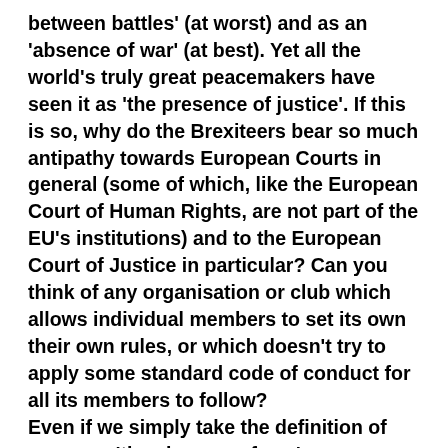between battles' (at worst) and as an 'absence of war' (at best). Yet all the world's truly great peacemakers have seen it as 'the presence of justice'. If this is so, why do the Brexiteers bear so much antipathy towards European Courts in general (some of which, like the European Court of Human Rights, are not part of the EU's institutions) and to the European Court of Justice in particular? Can you think of any organisation or club which allows individual members to set its own their own rules, or which doesn't try to apply some standard code of conduct for all its members to follow? Even if we simply take the definition of peace as 'the absence of war' we can see that the EU has been instrumental in keeping the peace in Europe over the last sixty years. Of course, NATO, founded a decade